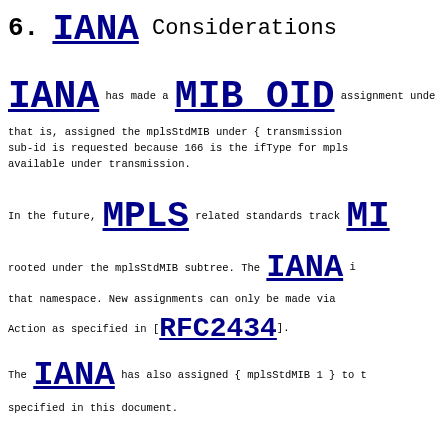6. IANA Considerations
IANA has made a MIB OID assignment under that is, assigned the mplsStdMIB under { transmission sub-id is requested because 166 is the ifType for mpls available under transmission.
In the future, MPLS related standards track MI rooted under the mplsStdMIB subtree. The IANA i that namespace. New assignments can only be made via Action as specified in [RFC2434].
The IANA has also assigned { mplsStdMIB 1 } to t specified in this document.